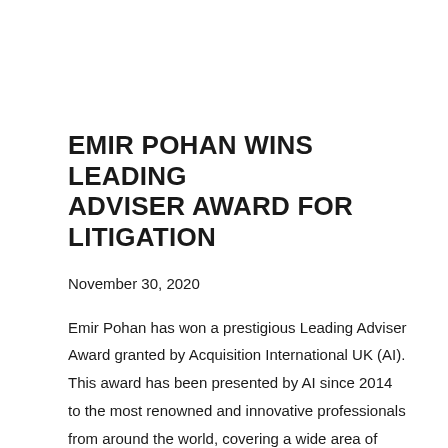EMIR POHAN WINS LEADING ADVISER AWARD FOR LITIGATION
November 30, 2020
Emir Pohan has won a prestigious Leading Adviser Award granted by Acquisition International UK (AI). This award has been presented by AI since 2014 to the most renowned and innovative professionals from around the world, covering a wide area of industries, including lawyers, accountants,